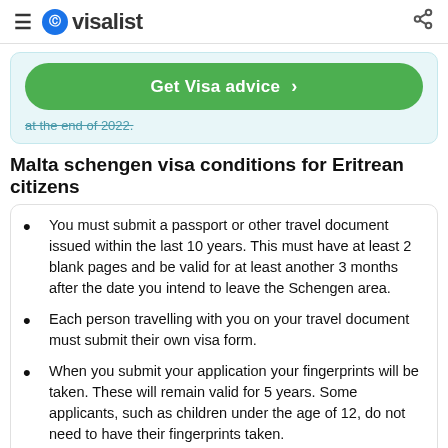visalist
Get Visa advice >
at the end of 2022.
Malta schengen visa conditions for Eritrean citizens
You must submit a passport or other travel document issued within the last 10 years. This must have at least 2 blank pages and be valid for at least another 3 months after the date you intend to leave the Schengen area.
Each person travelling with you on your travel document must submit their own visa form.
When you submit your application your fingerprints will be taken. These will remain valid for 5 years. Some applicants, such as children under the age of 12, do not need to have their fingerprints taken.